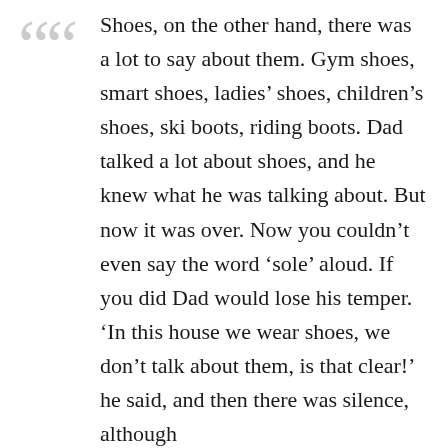Shoes, on the other hand, there was a lot to say about them. Gym shoes, smart shoes, ladies’ shoes, children’s shoes, ski boots, riding boots. Dad talked a lot about shoes, and he knew what he was talking about. But now it was over. Now you couldn’t even say the word ‘sole’ aloud. If you did Dad would lose his temper. ‘In this house we wear shoes, we don’t talk about them, is that clear!’ he said, and then there was silence, although